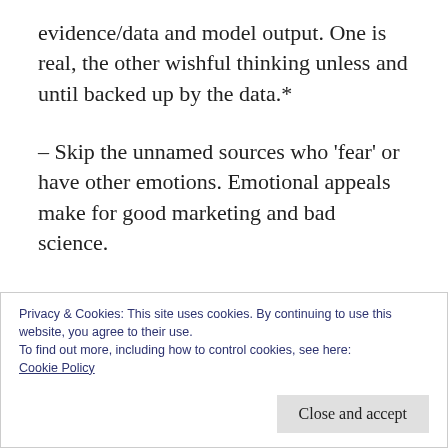evidence/data and model output. One is real, the other wishful thinking unless and until backed up by the data.*
– Skip the unnamed sources who 'fear' or have other emotions. Emotional appeals make for good marketing and bad science.
What scientific conclusions can a layman make here? There's a couple, always keeping the tentative nature of scientific conclusions in
Privacy & Cookies: This site uses cookies. By continuing to use this website, you agree to their use.
To find out more, including how to control cookies, see here:
Cookie Policy